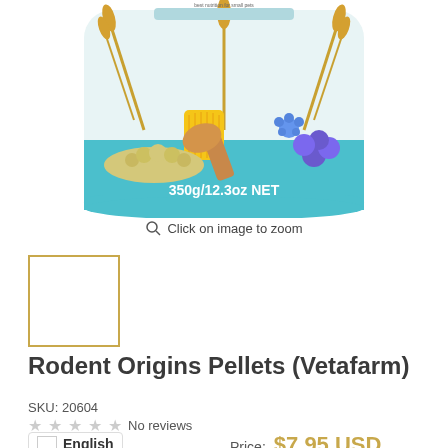[Figure (photo): Product package of Rodent Origins Pellets by Vetafarm. Teal-colored bag showing wheat stalks, corn, soybeans, berries, chicory flower and a wooden scoop. Text on bag: 350g/12.3oz NET]
Click on image to zoom
[Figure (photo): Small thumbnail image of the product (empty/white placeholder with gold border)]
Rodent Origins Pellets (Vetafarm)
SKU: 20604
No reviews
English
Price: $7.95 USD